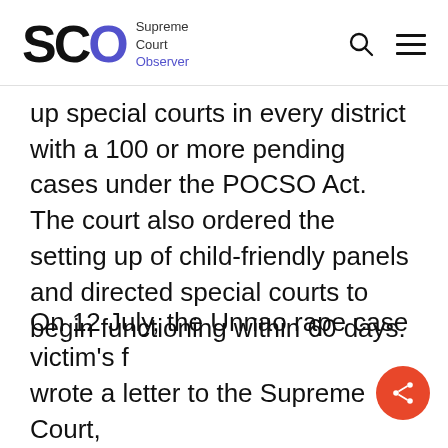SCO Supreme Court Observer
up special courts in every district with a 100 or more pending cases under the POCSO Act. The court also ordered the setting up of child-friendly panels and directed special courts to begin functioning within 60 days.
On 12 July, the Unnao rape case victim's fa wrote a letter to the Supreme Court,